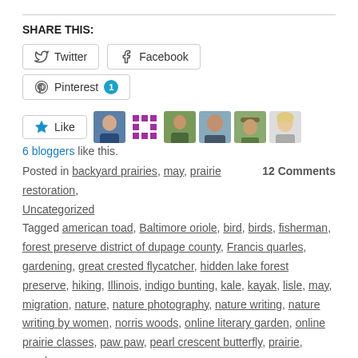SHARE THIS:
[Figure (infographic): Social share buttons: Twitter, Facebook, Pinterest with count badge of 1]
[Figure (infographic): Like button with 5 blogger avatar thumbnails]
6 bloggers like this.
Posted in backyard prairies, may, prairie restoration, Uncategorized	12 Comments
Tagged american toad, Baltimore oriole, bird, birds, fisherman, forest preserve district of dupage county, Francis quarles, gardening, great crested flycatcher, hidden lake forest preserve, hiking, Illinois, indigo bunting, kale, kayak, lisle, may, migration, nature, nature photography, nature writing, nature writing by women, norris woods, online literary garden, online prairie classes, paw paw, pearl crescent butterfly, prairie, purple